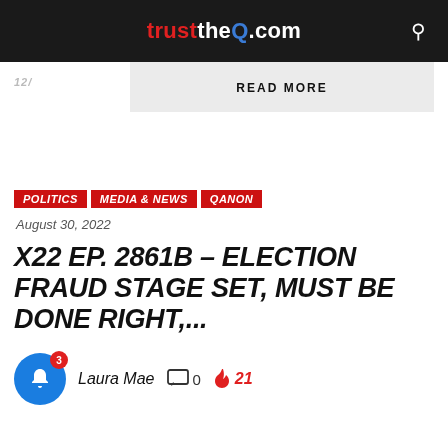trusttheQ.com
READ MORE
POLITICS  MEDIA & NEWS  QANON
August 30, 2022
X22 EP. 2861B – ELECTION FRAUD STAGE SET, MUST BE DONE RIGHT,...
Laura Mae  0  21